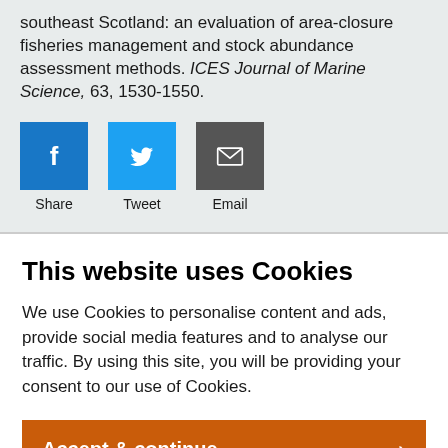southeast Scotland: an evaluation of area-closure fisheries management and stock abundance assessment methods. ICES Journal of Marine Science, 63, 1530-1550.
[Figure (infographic): Social sharing buttons: Facebook (Share), Twitter (Tweet), Email]
This website uses Cookies
We use Cookies to personalise content and ads, provide social media features and to analyse our traffic. By using this site, you will be providing your consent to our use of Cookies.
Accept & continue